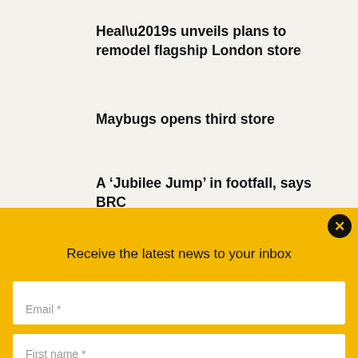Heal’s unveils plans to remodel flagship London store
Maybugs opens third store
A ‘Jubilee Jump’ in footfall, says BRC
Receive the latest news to your inbox
Email *
First name *